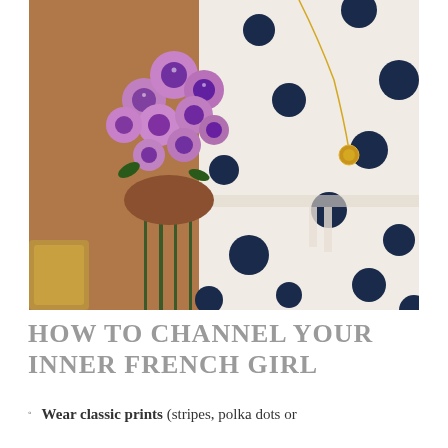[Figure (photo): A woman wearing a white polka dot dress with navy blue dots, holding a bouquet of purple flowers (asters/chrysanthemums). She is also wearing a gold necklace. A gold chain bag is partially visible. The photo is a close-up of her torso and arms.]
HOW TO CHANNEL YOUR INNER FRENCH GIRL
Wear classic prints (stripes, polka dots or